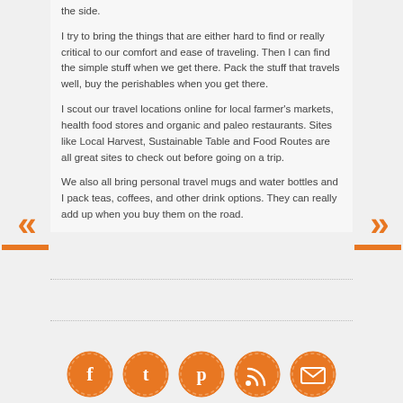the side.
I try to bring the things that are either hard to find or really critical to our comfort and ease of traveling. Then I can find the simple stuff when we get there. Pack the stuff that travels well, buy the perishables when you get there.
I scout our travel locations online for local farmer's markets, health food stores and organic and paleo restaurants. Sites like Local Harvest, Sustainable Table and Food Routes are all great sites to check out before going on a trip.
We also all bring personal travel mugs and water bottles and I pack teas, coffees, and other drink options. They can really add up when you buy them on the road.
[Figure (infographic): Social media icons row: Facebook, Tumblr, Pinterest, RSS, Email — orange circles with white icons]